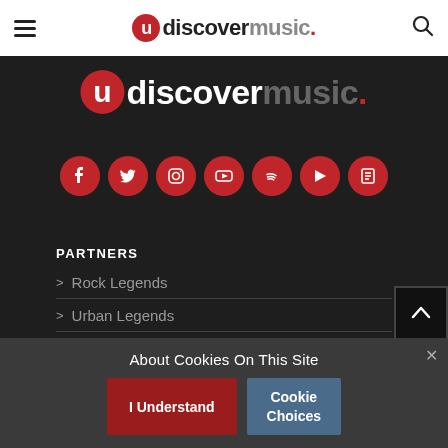uDiscoverMusic navigation bar
[Figure (logo): uDiscoverMusic logo large white version on dark background with social media icons: Facebook, Twitter, Instagram, YouTube, Spotify, and two others]
PARTNERS
Rock Legends
Urban Legends
Disney
uDiscover Classical
About Cookies On This Site
I Understand | Cookie Choices